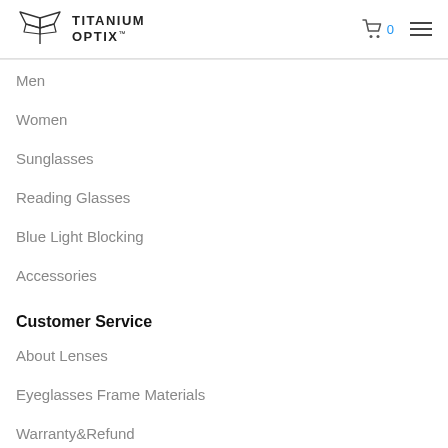TITANIUM OPTIX
Men
Women
Sunglasses
Reading Glasses
Blue Light Blocking
Accessories
Customer Service
About Lenses
Eyeglasses Frame Materials
Warranty&Refund
Delivery Policy
Guarantee